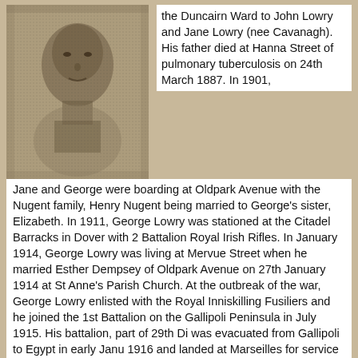[Figure (photo): Black and white halftone photograph of a young man, appearing to be a soldier portrait.]
the Duncairn Ward to John Lowry and Jane Lowry (nee Cavanagh). His father died at Hanna Street of pulmonary tuberculosis on 24th March 1887. In 1901, Jane and George were boarding at Oldpark Avenue with the Nugent family, Henry Nugent being married to George's sister, Elizabeth. In 1911, George Lowry was stationed at the Citadel Barracks in Dover with 2 Battalion Royal Irish Rifles. In January 1914, George Lowry was living at Mervue Street when he married Esther Dempsey of Oldpark Avenue on 27th January 1914 at St Anne's Parish Church. At the outbreak of the war, George Lowry enlisted with the Royal Inniskilling Fusiliers and he joined the 1st Battalion on the Gallipoli Peninsula in July 1915. His battalion, part of 29th Di was evacuated from Gallipoli to Egypt in early Janu 1916 and landed at Marseilles for service in France i March 1916. The battalion remained in 29th Division until